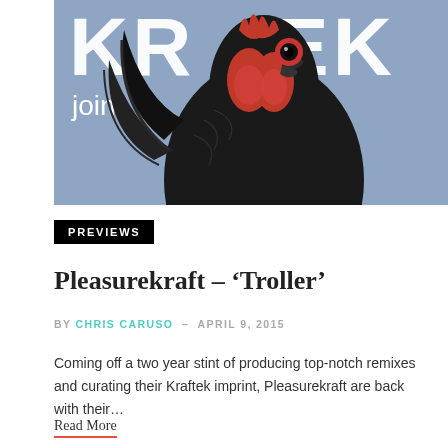[Figure (illustration): Album cover image showing a close-up painting of a black rooster on a blue/periwinkle background with large white text reading 'KRATEK' and the word 'joint' in white below]
PREVIEWS
Pleasurekraft – ‘Troller’
BY CHRIS CARUSO - APRIL 9, 2015
Coming off a two year stint of producing top-notch remixes and curating their Kraftek imprint, Pleasurekraft are back with their…
Read More